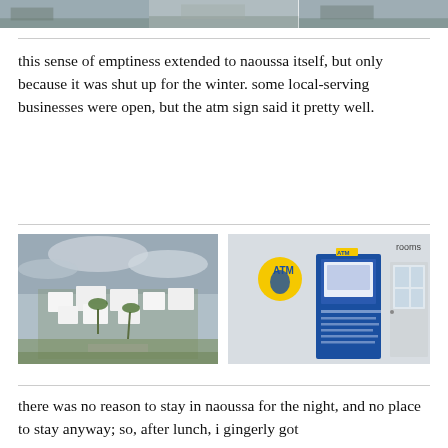[Figure (photo): Three cropped photos at top of page showing outdoor/landscape scenes]
this sense of emptiness extended to naoussa itself, but only because it was shut up for the winter. some local-serving businesses were open, but the atm sign said it pretty well.
[Figure (photo): Left: aerial view of white Cycladic buildings with palm trees and overcast sky. Right: blue ATM sign on white wall with 'rooms' text and a door.]
there was no reason to stay in naoussa for the night, and no place to stay anyway; so, after lunch, i gingerly got